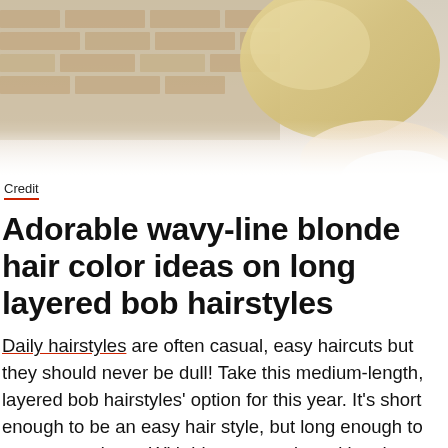[Figure (photo): Close-up photo of a person with blonde hair, showing the back/side of their head against a brick wall background]
Credit
Adorable wavy-line blonde hair color ideas on long layered bob hairstyles
Daily hairstyles are often casual, easy haircuts but they should never be dull!  Take this medium-length, layered bob hairstyles' option for this year. It's short enough to be an easy hair style, but long enough to wear up or down.  With blunt-cut ends making the ends look thicker, this is a classic popular hairstyles for medium and fine hair. For spring and summer, the